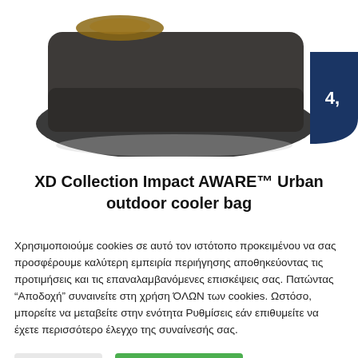[Figure (photo): Product photo of a dark gray/charcoal XD Collection Impact AWARE Urban outdoor cooler bag, shown from above at an angle on a white background. A dark navy blue badge with '4,' is partially visible in the top right corner.]
XD Collection Impact AWARE™ Urban outdoor cooler bag
Χρησιμοποιούμε cookies σε αυτό τον ιστότοπο προκειμένου να σας προσφέρουμε καλύτερη εμπειρία περιήγησης αποθηκεύοντας τις προτιμήσεις και τις επαναλαμβανόμενες επισκέψεις σας. Πατώντας "Αποδοχή" συναινείτε στη χρήση ΌΛΩΝ των cookies. Ωστόσο, μπορείτε να μεταβείτε στην ενότητα Ρυθμίσεις εάν επιθυμείτε να έχετε περισσότερο έλεγχο της συναίνεσής σας.
Ρυθμίσεις
Αποδοχή Όλων